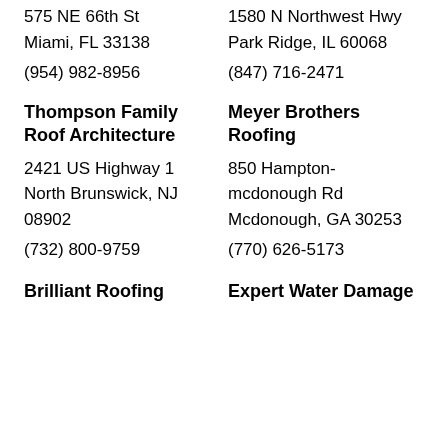1580 N Northwest Hwy
Park Ridge, IL 60068

(847) 716-2471
575 NE 66th St
Miami, FL 33138

(954) 982-8956
Thompson Family Roof Architecture
Meyer Brothers Roofing
2421 US Highway 1
North Brunswick, NJ 08902

(732) 800-9759
850 Hampton-mcdonough Rd
Mcdonough, GA 30253

(770) 626-5173
Brilliant Roofing
Expert Water Damage